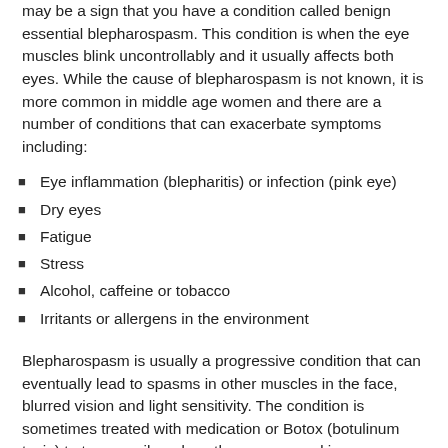may be a sign that you have a condition called benign essential blepharospasm. This condition is when the eye muscles blink uncontrollably and it usually affects both eyes. While the cause of blepharospasm is not known, it is more common in middle age women and there are a number of conditions that can exacerbate symptoms including:
Eye inflammation (blepharitis) or infection (pink eye)
Dry eyes
Fatigue
Stress
Alcohol, caffeine or tobacco
Irritants or allergens in the environment
Blepharospasm is usually a progressive condition that can eventually lead to spasms in other muscles in the face, blurred vision and light sensitivity. The condition is sometimes treated with medication or Botox (botulinum toxin) to temporarily reduce the spasms and in severe cases, surgery may be performed to remove some of the